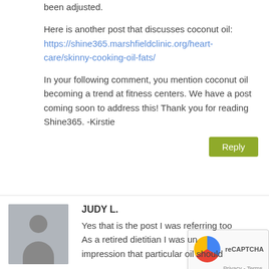been adjusted.
Here is another post that discusses coconut oil: https://shine365.marshfieldclinic.org/heart-care/skinny-cooking-oil-fats/
In your following comment, you mention coconut oil becoming a trend at fitness centers. We have a post coming soon to address this! Thank you for reading Shine365. -Kirstie
Reply
JUDY L.
Sep 8, 2016
Yes that is the post I was referring too
As a retired dietitian I was under the impression that particular oil should